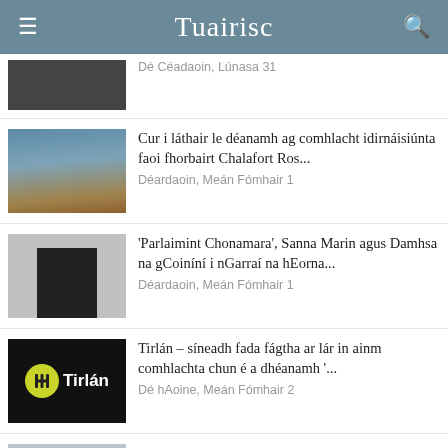Tuairisc
Dé Céadaoin, Lúnasa 31
Cur i láthair le déanamh ag comhlacht idirnáisiúnta faoi fhorbairt Chalafort Ros...
Déardaoin, Meán Fómhair 1
'Parlaimint Chonamara', Sanna Marin agus Damhsa na gCoiníní i nGarraí na hEorna...
Déardaoin, Meán Fómhair 1
Tirlán – síneadh fada fágtha ar lár in ainm comhlachta chun é a dhéanamh '...
Dé hAoine, Meán Fómhair 2
An t-iar-aire stáit Gaeltachta Dara Calleary ceaptha in áit Robert Troy
Dé Céadaoin, Lúnasa 31